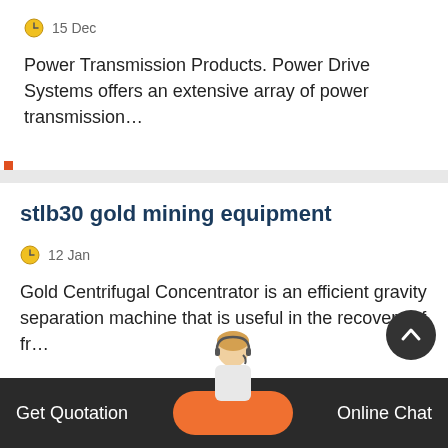15 Dec
Power Transmission Products. Power Drive Systems offers an extensive array of power transmission…
stlb30 gold mining equipment
12 Jan
Gold Centrifugal Concentrator is an efficient gravity separation machine that is useful in the recovery of fr…
practice of rare earth mineral flotation and
Get Quotation   Online Chat